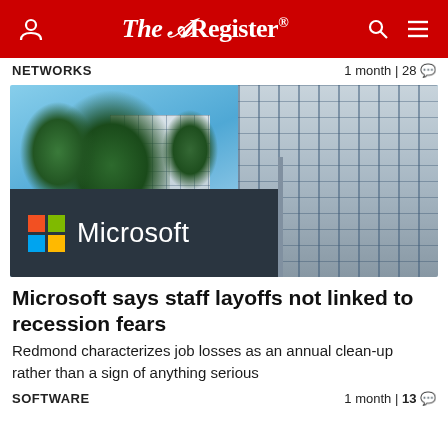The Register®
NETWORKS    1 month | 28
[Figure (photo): Microsoft campus sign with logo (four colored squares) and the word Microsoft, with trees and office buildings in the background]
Microsoft says staff layoffs not linked to recession fears
Redmond characterizes job losses as an annual clean-up rather than a sign of anything serious
SOFTWARE    1 month | 13